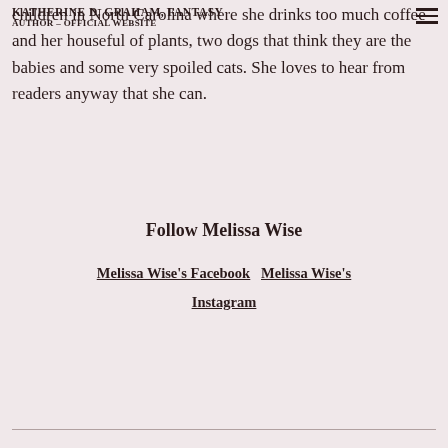KATHERINE D. GRAHAM, FANTASY AUTHOR – OFFICIAL WEBSITE
children in North Carolina where she drinks too much coffee and her houseful of plants, two dogs that think they are the babies and some very spoiled cats. She loves to hear from readers anyway that she can.
Follow Melissa Wise
Melissa Wise's Facebook    Melissa Wise's Instagram